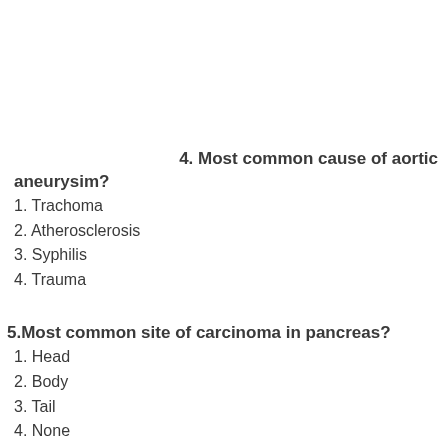4. Most common cause of aortic aneurysim?
1. Trachoma
2. Atherosclerosis
3. Syphilis
4. Trauma
5.Most common site of carcinoma in pancreas?
1. Head
2. Body
3. Tail
4. None